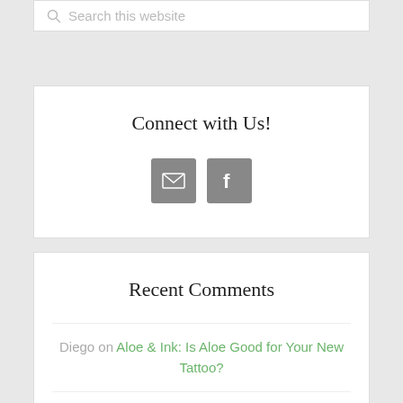Search this website
Connect with Us!
[Figure (infographic): Two social media icon buttons: an email envelope icon and a Facebook 'f' icon, both on grey square backgrounds]
Recent Comments
Diego on Aloe & Ink: Is Aloe Good for Your New Tattoo?
Jay on Wait Up! Before You Pop that Aloe...